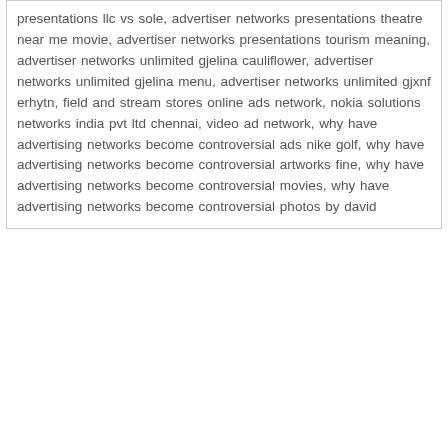presentations llc vs sole, advertiser networks presentations theatre near me movie, advertiser networks presentations tourism meaning, advertiser networks unlimited gjelina cauliflower, advertiser networks unlimited gjelina menu, advertiser networks unlimited gjxnf erhytn, field and stream stores online ads network, nokia solutions networks india pvt ltd chennai, video ad network, why have advertising networks become controversial ads nike golf, why have advertising networks become controversial artworks fine, why have advertising networks become controversial movies, why have advertising networks become controversial photos by david